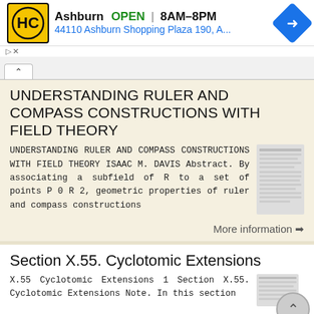[Figure (other): Ad banner: HC logo, Ashburn OPEN 8AM-8PM, 44110 Ashburn Shopping Plaza 190, A..., navigation arrow icon]
UNDERSTANDING RULER AND COMPASS CONSTRUCTIONS WITH FIELD THEORY
UNDERSTANDING RULER AND COMPASS CONSTRUCTIONS WITH FIELD THEORY ISAAC M. DAVIS Abstract. By associating a subfield of R to a set of points P 0 R 2, geometric properties of ruler and compass constructions
More information →
Section X.55. Cyclotomic Extensions
X.55 Cyclotomic Extensions 1 Section X.55. Cyclotomic Extensions Note. In this section